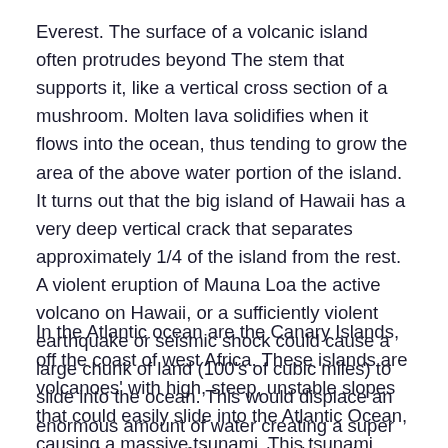Everest. The surface of a volcanic island often protrudes beyond The stem that supports it, like a vertical cross section of a mushroom. Molten lava solidifies when it flows into the ocean, thus tending to grow the area of the above water portion of the island. It turns out that the big island of Hawaii has a very deep vertical crack that separates approximately 1/4 of the island from the rest. A violent eruption of Mauna Loa the active volcano on Hawaii, or a sufficiently violent earthquake or seismic shock could cause a large chunk of land (100's of cubic miles) to slide into the ocean. This would displace an enormous amount of water creating a super tsunami capable of devastating the entire pacific rim.
In the Atlantic ocean are the Canary Islands, off the coast of west Africa. These islands are volcanoes' with high, steep, unstable slopes that could easily slide into the Atlantic Ocean, causing a massive tsunami. This tsunami